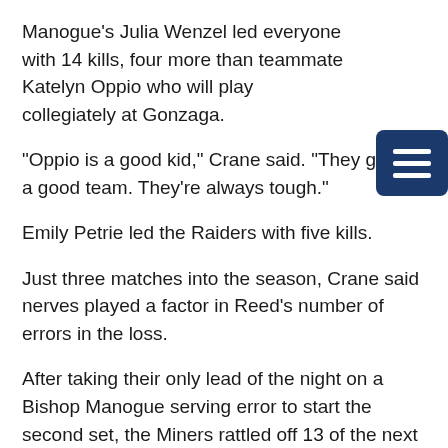Manogue's Julia Wenzel led everyone with 14 kills, four more than teammate Katelyn Oppio who will play collegiately at Gonzaga.
"Oppio is a good kid," Crane said. "They got a good team. They're always tough."
Emily Petrie led the Raiders with five kills.
Just three matches into the season, Crane said nerves played a factor in Reed's number of errors in the loss.
After taking their only lead of the night on a Bishop Manogue serving error to start the second set, the Miners rattled off 13 of the next 14 points.
Things don't get any easier for the Raiders on Thursday as